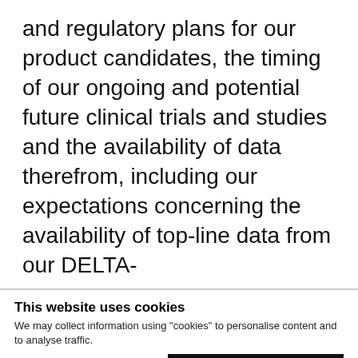and regulatory plans for our product candidates, the timing of our ongoing and potential future clinical trials and studies and the availability of data therefrom, including our expectations concerning the availability of top-line data from our DELTA-
This website uses cookies
We may collect information using “cookies” to personalise content and to analyse traffic.
Allow all cookies
Allow selection
Use necessary cookies only
Essential  Functionality  Analytics and Performance  Targeted and Advertising  Show details